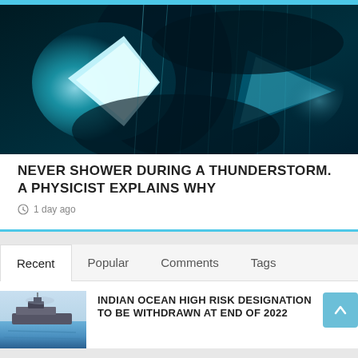[Figure (photo): Dark teal-toned photo of a person showering with water droplets and digital visual effects]
NEVER SHOWER DURING A THUNDERSTORM. A PHYSICIST EXPLAINS WHY
1 day ago
Recent | Popular | Comments | Tags
[Figure (photo): Small thumbnail of a naval ship on water]
INDIAN OCEAN HIGH RISK DESIGNATION TO BE WITHDRAWN AT END OF 2022